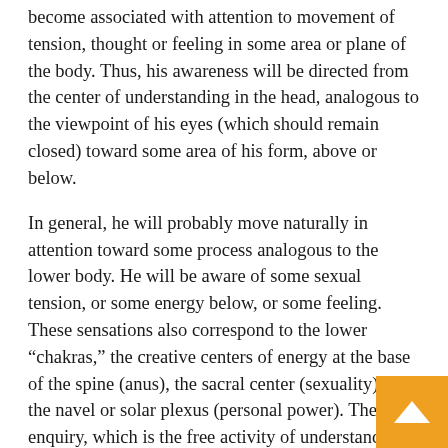become associated with attention to movement of tension, thought or feeling in some area or plane of the body. Thus, his awareness will be directed from the center of understanding in the head, analogous to the viewpoint of his eyes (which should remain closed) toward some area of his form, above or below.
In general, he will probably move naturally in attention toward some process analogous to the lower body. He will be aware of some sexual tension, or some energy below, or some feeling. These sensations also correspond to the lower “chakras,” the creative centers of energy at the base of the spine (anus), the sacral center (sexuality), and the navel or solar plexus (personal power). The enquiry, which is the free activity of understanding, should thus be allowed to confront whatever area the mind tends to pursue. When this movement begins, he should enquire “Avoiding relationship?” He should not seek